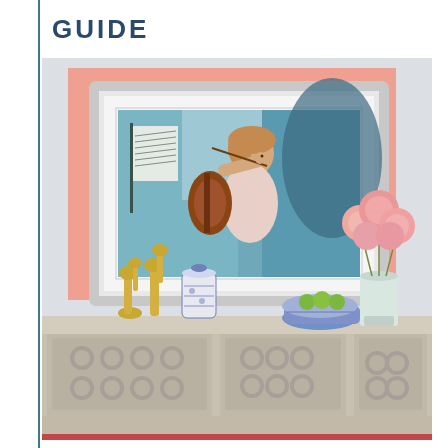GUIDE
[Figure (photo): Interior room scene with a framed painting of a young girl playing violin, displayed above a white sideboard decorated with gold giraffe figurines, blue and white ceramic jars, a bowl of green apples, and pink flowers in a glass vase. A salmon/peach colored panel is visible behind the framed artwork on a light grey wall.]